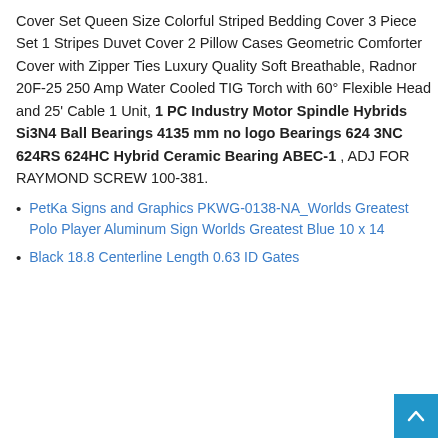Cover Set Queen Size Colorful Striped Bedding Cover 3 Piece Set 1 Stripes Duvet Cover 2 Pillow Cases Geometric Comforter Cover with Zipper Ties Luxury Quality Soft Breathable, Radnor 20F-25 250 Amp Water Cooled TIG Torch with 60° Flexible Head and 25' Cable 1 Unit, 1 PC Industry Motor Spindle Hybrids Si3N4 Ball Bearings 4135 mm no logo Bearings 624 3NC 624RS 624HC Hybrid Ceramic Bearing ABEC-1 , ADJ FOR RAYMOND SCREW 100-381.
PetKa Signs and Graphics PKWG-0138-NA_Worlds Greatest Polo Player Aluminum Sign Worlds Greatest Blue 10 x 14
Black 18.8 Centerline Length 0.63 ID Gates